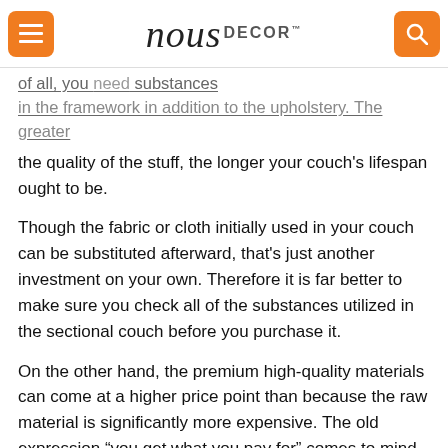nous DECOR
of all, you need substances in the framework in addition to the upholstery. The greater the quality of the stuff, the longer your couch's lifespan ought to be.
Though the fabric or cloth initially used in your couch can be substituted afterward, that's just another investment on your own. Therefore it is far better to make sure you check all of the substances utilized in the sectional couch before you purchase it.
On the other hand, the premium high-quality materials can come at a higher price point than because the raw material is significantly more expensive. The old expression “you get what you pay for” comes to mind here.
Comfort